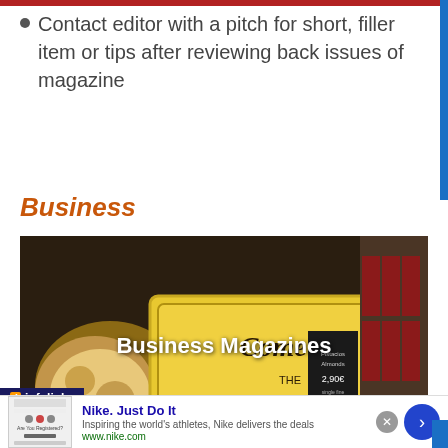Contact editor with a pitch for short, filler item or tips after reviewing back issues of magazine
Business
[Figure (photo): Photo of a store with a yellow 'Come In We're OPEN' sign and food items visible, overlaid with text 'Business Magazines']
Nike. Just Do It
Inspiring the world's athletes, Nike delivers the deals
www.nike.com